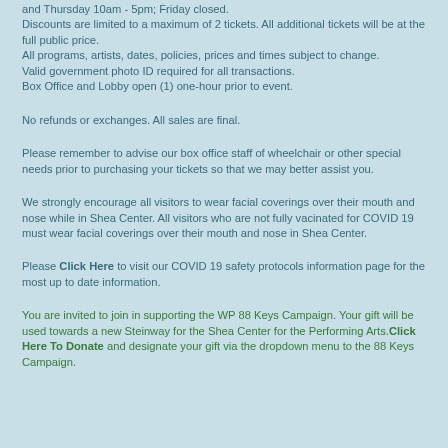and Thursday 10am - 5pm; Friday closed.
Discounts are limited to a maximum of 2 tickets. All additional tickets will be at the full public price.
All programs, artists, dates, policies, prices and times subject to change.
Valid government photo ID required for all transactions.
Box Office and Lobby open (1) one-hour prior to event.
No refunds or exchanges. All sales are final.
Please remember to advise our box office staff of wheelchair or other special needs prior to purchasing your tickets so that we may better assist you.
We strongly encourage all visitors to wear facial coverings over their mouth and nose while in Shea Center. All visitors who are not fully vacinated for COVID 19 must wear facial coverings over their mouth and nose in Shea Center.
Please Click Here to visit our COVID 19 safety protocols information page for the most up to date information.
You are invited to join in supporting the WP 88 Keys Campaign. Your gift will be used towards a new Steinway for the Shea Center for the Performing Arts.Click Here To Donate and designate your gift via the dropdown menu to the 88 Keys Campaign.